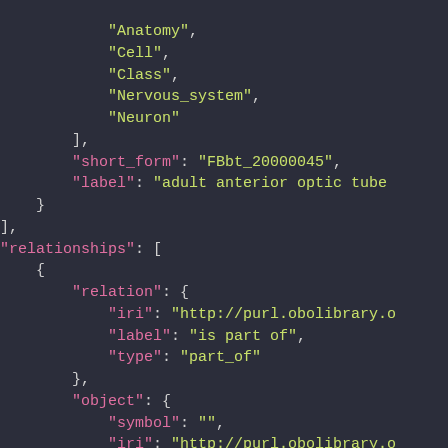JSON code snippet showing anatomy/biology ontology data with relationships including short_form FBbt_20000045, label adult anterior optic tube, relationships array with relation (iri http://purl.obolibrary.org, label is part of, type part_of) and object (symbol empty string, iri http://purl.obolibrary.org, types array)